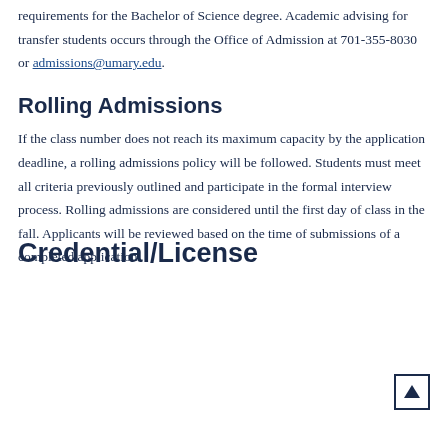requirements for the Bachelor of Science degree. Academic advising for transfer students occurs through the Office of Admission at 701-355-8030 or admissions@umary.edu.
Rolling Admissions
If the class number does not reach its maximum capacity by the application deadline, a rolling admissions policy will be followed. Students must meet all criteria previously outlined and participate in the formal interview process. Rolling admissions are considered until the first day of class in the fall. Applicants will be reviewed based on the time of submissions of a completed application.
Credential/License